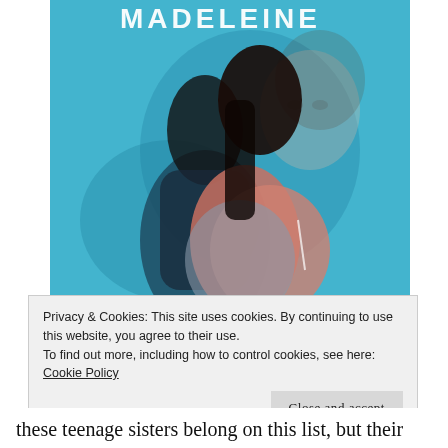[Figure (photo): Album cover with the word MADELEINE in white text at top, showing a young woman with long dark hair against a blue background, with a double-exposure ghosted second figure of her face.]
Privacy & Cookies: This site uses cookies. By continuing to use this website, you agree to their use.
To find out more, including how to control cookies, see here: Cookie Policy
Close and accept
these teenage sisters belong on this list, but their